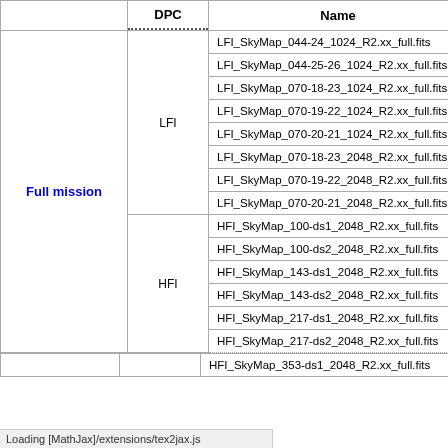|  | DPC | Name |
| --- | --- | --- |
| Full mission | LFI | LFI_SkyMap_044-24_1024_R2.xx_full.fits |
| Full mission | LFI | LFI_SkyMap_044-25-26_1024_R2.xx_full.fits |
| Full mission | LFI | LFI_SkyMap_070-18-23_1024_R2.xx_full.fits |
| Full mission | LFI | LFI_SkyMap_070-19-22_1024_R2.xx_full.fits |
| Full mission | LFI | LFI_SkyMap_070-20-21_1024_R2.xx_full.fits |
| Full mission | LFI | LFI_SkyMap_070-18-23_2048_R2.xx_full.fits |
| Full mission | LFI | LFI_SkyMap_070-19-22_2048_R2.xx_full.fits |
| Full mission | LFI | LFI_SkyMap_070-20-21_2048_R2.xx_full.fits |
| Full mission | HFI | HFI_SkyMap_100-ds1_2048_R2.xx_full.fits |
| Full mission | HFI | HFI_SkyMap_100-ds2_2048_R2.xx_full.fits |
| Full mission | HFI | HFI_SkyMap_143-ds1_2048_R2.xx_full.fits |
| Full mission | HFI | HFI_SkyMap_143-ds2_2048_R2.xx_full.fits |
| Full mission | HFI | HFI_SkyMap_217-ds1_2048_R2.xx_full.fits |
| Full mission | HFI | HFI_SkyMap_217-ds2_2048_R2.xx_full.fits |
| Full mission | HFI | HFI_SkyMap_353-ds1_2048_R2.xx_full.fits |
Loading [MathJax]/extensions/tex2jax.js